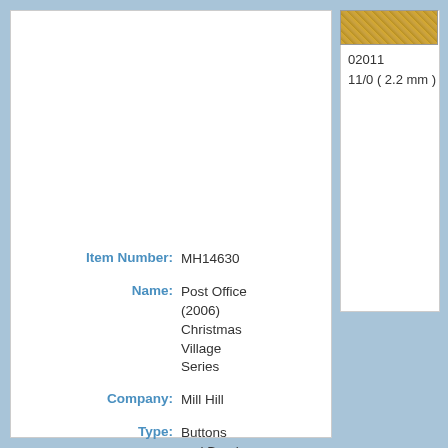[Figure (photo): Close-up photo of small golden/bronze seed beads]
02011
11/0 ( 2.2 mm )
Item Number: MH14630
Name: Post Office (2006) Christmas Village Series
Company: Mill Hill
Type: Buttons and Beads Kits
Grouping: Winter Series
Kit Includes: Beads, ceramic buttons,